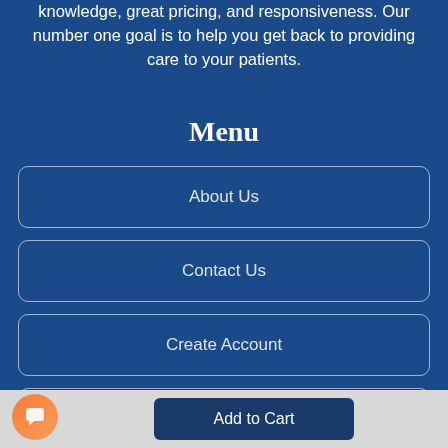knowledge, great pricing, and responsiveness. Our number one goal is to help you get back to providing care to your patients.
Menu
About Us
Contact Us
Create Account
Add to Cart